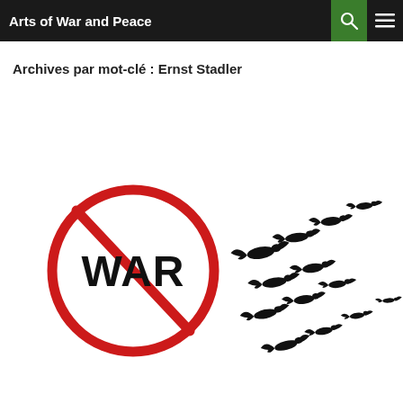Arts of War and Peace
Archives par mot-clé : Ernst Stadler
[Figure (illustration): A 'no war' symbol: the word WAR in bold black text inside a red circle with a diagonal red line through it (prohibition sign). To the right, a flock of birds (silhouettes) flying in a V-formation pattern.]